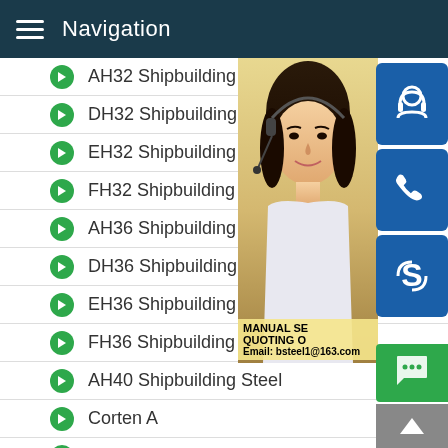Navigation
AH32 Shipbuilding Steel
DH32 Shipbuilding Steel
EH32 Shipbuilding Steel
FH32 Shipbuilding Steel
AH36 Shipbuilding Steel
DH36 Shipbuilding Steel
EH36 Shipbuilding Steel
FH36 Shipbuilding Steel
AH40 Shipbuilding Steel
Corten A
Corten B
[Figure (photo): Customer service representative (woman with headset) with contact icons and text: MANUAL SE... QUOTING O... Email: bsteel1@163.com]